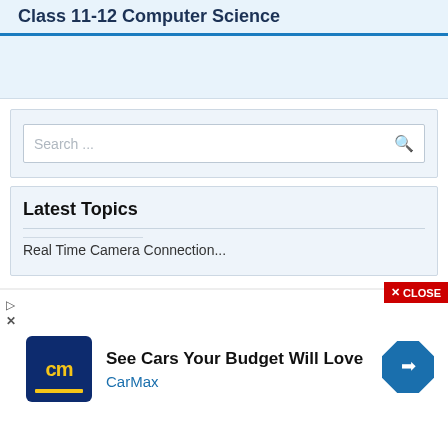Class 11-12 Computer Science
[Figure (screenshot): Search widget with search input box and magnifying glass icon]
Latest Topics
[Figure (infographic): CarMax advertisement banner: 'See Cars Your Budget Will Love — CarMax' with logo and arrow icon]